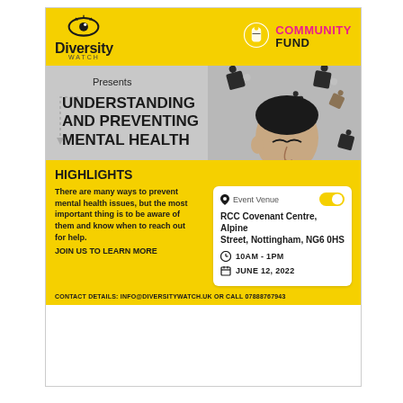[Figure (infographic): Event flyer for Diversity Watch presenting Understanding and Preventing Mental Health event, funded by National Lottery Community Fund. Features logos, a photo of a man with puzzle pieces, event highlights, venue details and contact information.]
Presents
UNDERSTANDING AND PREVENTING MENTAL HEALTH
HIGHLIGHTS
There are many ways to prevent mental health issues, but the most important thing is to be aware of them and know when to reach out for help.
JOIN US TO LEARN MORE
Event Venue
RCC Covenant Centre, Alpine Street, Nottingham, NG6 0HS
10AM - 1PM
JUNE 12, 2022
CONTACT DETAILS: info@diversitywatch.uk or call 07888767943